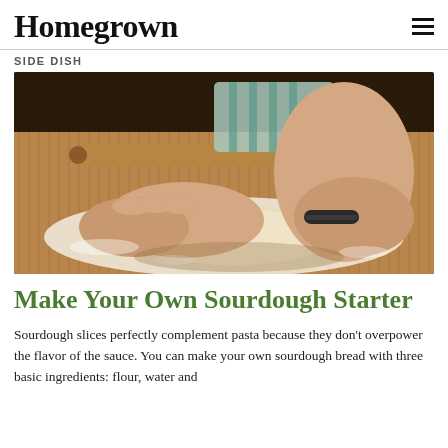Homegrown
SIDE DISH
[Figure (photo): Hands kneading bread dough on a floured surface with a rolling pin in the background]
Make Your Own Sourdough Starter
Sourdough slices perfectly complement pasta because they don't overpower the flavor of the sauce. You can make your own sourdough bread with three basic ingredients: flour, water and